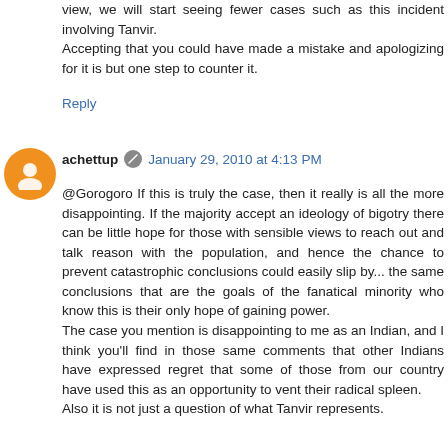view, we will start seeing fewer cases such as this incident involving Tanvir. Accepting that you could have made a mistake and apologizing for it is but one step to counter it.
Reply
achettup  January 29, 2010 at 4:13 PM
@Gorogoro If this is truly the case, then it really is all the more disappointing. If the majority accept an ideology of bigotry there can be little hope for those with sensible views to reach out and talk reason with the population, and hence the chance to prevent catastrophic conclusions could easily slip by... the same conclusions that are the goals of the fanatical minority who know this is their only hope of gaining power. The case you mention is disappointing to me as an Indian, and I think you'll find in those same comments that other Indians have expressed regret that some of those from our country have used this as an opportunity to vent their radical spleen. Also it is not just a question of what Tanvir represents.